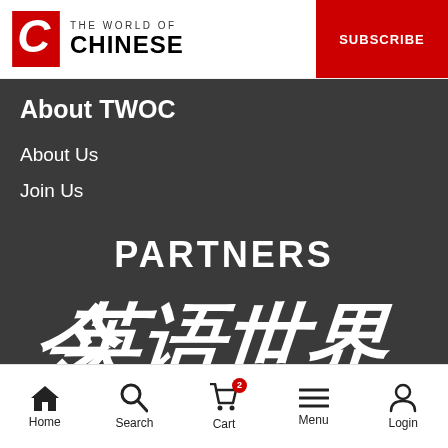THE WORLD OF CHINESE | SUBSCRIBE
About TWOC
About Us
Join Us
PARTNERS
[Figure (logo): Chinese calligraphy logo of a partner organization showing characters 英语世界]
Home  Search  Cart 2  Menu  Login